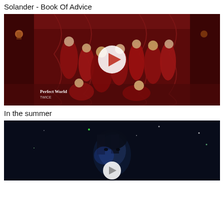Solander - Book Of Advice
[Figure (photo): Video thumbnail showing TWICE group members in red outfits in an ornate red room setting, with a white play button circle overlay. Text 'Perfect World TWICE' visible in lower left.]
In the summer
[Figure (photo): Video thumbnail showing a person with dark hair against a dark night sky with small star-like lights, with a white play button circle overlay at the bottom.]